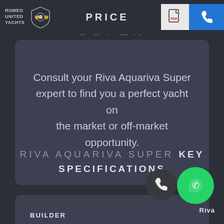ROMEO UNITED YACHTS | RIVA AQUARIVA SUPER | PRICE
Consult your Riva Aquariva Super expert to find you a perfect yacht on the market or off-market opportunity.
RIVA AQUARIVA SUPER KEY SPECIFICATIONS
BUILDER | Riva